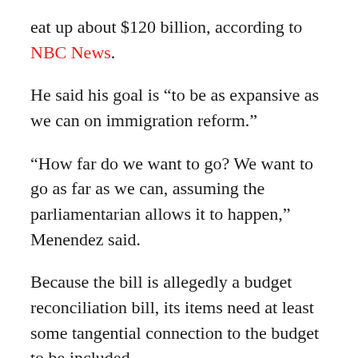eat up about $120 billion, according to NBC News.
He said his goal is “to be as expansive as we can on immigration reform.”
“How far do we want to go? We want to go as far as we can, assuming the parliamentarian allows it to happen,” Menendez said.
Because the bill is allegedly a budget reconciliation bill, its items need at least some tangential connection to the budget to be included.
“It has tremendous budget effects,” Menendez said. “It will provide revenue to the federal